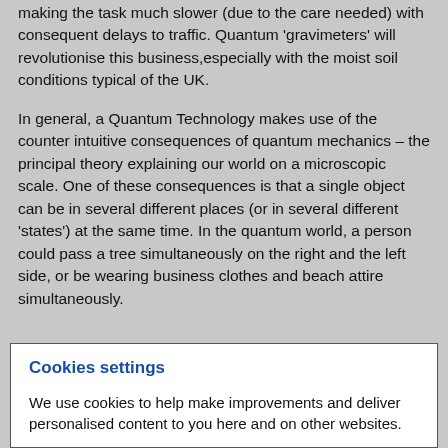making the task much slower (due to the care needed) with consequent delays to traffic. Quantum 'gravimeters' will revolutionise this business, especially with the moist soil conditions typical of the UK.
In general, a Quantum Technology makes use of the counter intuitive consequences of quantum mechanics – the principal theory explaining our world on a microscopic scale. One of these consequences is that a single object can be in several different places (or in several different 'states') at the same time. In the quantum world, a person could pass a tree simultaneously on the right and the left side, or be wearing business clothes and beach attire simultaneously.
Cookies settings
We use cookies to help make improvements and deliver personalised content to you here and on other websites.